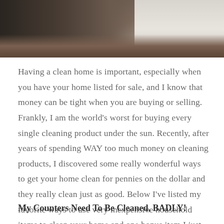[Figure (photo): A person holding a cleaning tool/mop standing on a hardwood floor, with white wall trim visible in the upper right corner. Top portion of image is cropped.]
Having a clean home is important, especially when you have your home listed for sale, and I know that money can be tight when you are buying or selling. Frankly, I am the world's worst for buying every single cleaning product under the sun. Recently, after years of spending WAY too much money on cleaning products, I discovered some really wonderful ways to get your home clean for pennies on the dollar and they really clean just as good. Below I've listed my favorite ways to use very inexpensive household items to clean your home and one bonus item I just remembered.
My Counters Need To Be Cleaned, BADLY!